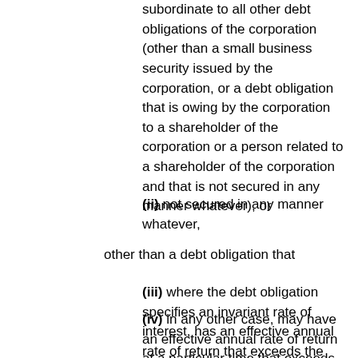subordinate to all other debt obligations of the corporation (other than a small business security issued by the corporation, or a debt obligation that is owing by the corporation to a shareholder of the corporation or a person related to a shareholder of the corporation and that is not secured in any manner whatever), or
(ii) not secured in any manner whatever,
other than a debt obligation that
(iii) where the debt obligation specifies an invariant rate of interest, has an effective annual rate of return that exceeds the designated rate for the day on which the obligation was issued, and
(iv) in any other case, may have an effective annual rate of return at a particular time that exceeds the designated rate at the particular